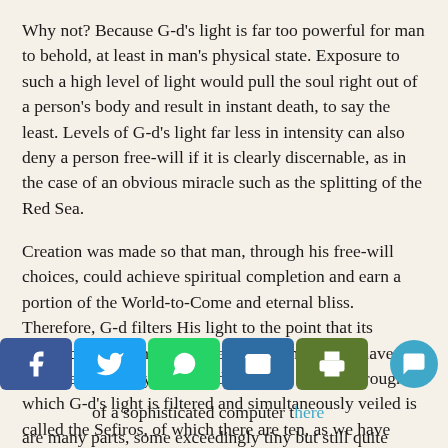Why not? Because G-d's light is far too powerful for man to behold, at least in man's physical state. Exposure to such a high level of light would pull the soul right out of a person's body and result in instant death, to say the least. Levels of G-d's light far less in intensity can also deny a person free-will if it is clearly discernable, as in the case of an obvious miracle such as the splitting of the Red Sea.
Creation was made so that man, through his free-will choices, could achieve spiritual completion and earn a portion of the World-to-Come and eternal bliss. Therefore, G-d filters His light to the point that its presence isn't so noticeable except to those who have become spiritually sensitized to it. The system through which G-d's light is filtered and simultaneously veiled is called the Sefiros, of which there are ten, as we have already mentioned.
However, creation and history are extremely detailed. [re], as [the] of a sophisticated computer there are many parts, some exceedingly tiny but still quite precise, so